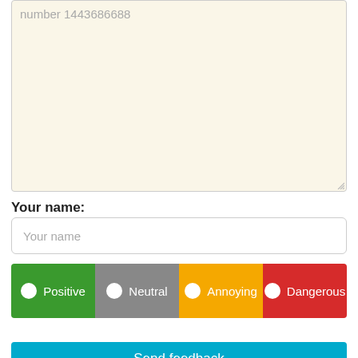number 1443686688
Your name:
Your name
Positive  Neutral  Annoying  Dangerous
Send feedback